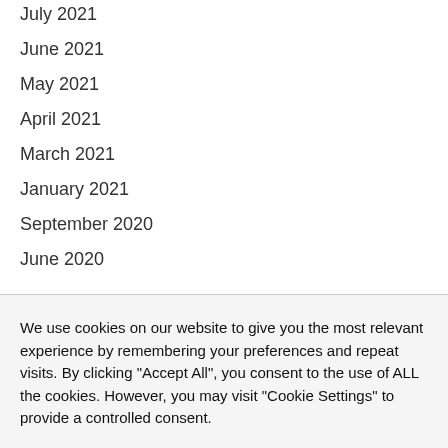July 2021
June 2021
May 2021
April 2021
March 2021
January 2021
September 2020
June 2020
We use cookies on our website to give you the most relevant experience by remembering your preferences and repeat visits. By clicking "Accept All", you consent to the use of ALL the cookies. However, you may visit "Cookie Settings" to provide a controlled consent.
Cookie Settings | Accept All